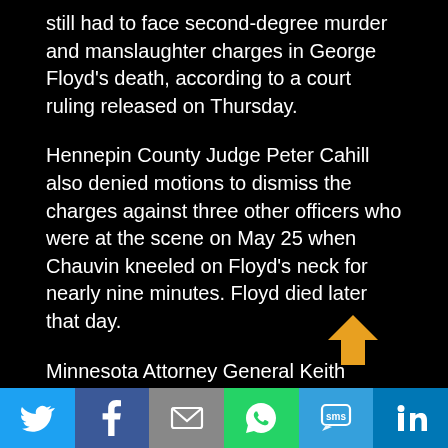still had to face second-degree murder and manslaughter charges in George Floyd's death, according to a court ruling released on Thursday.
Hennepin County Judge Peter Cahill also denied motions to dismiss the charges against three other officers who were at the scene on May 25 when Chauvin kneeled on Floyd's neck for nearly nine minutes. Floyd died later that day.
Minnesota Attorney General Keith Ellison portrayed the ruling as a win for his office.
“The court’s decision to dismiss just one of the lesser charges against just one of the defendants — while leaving intact all the charges against the other three defendants — is based on how appellate courts have interpreted the sta…